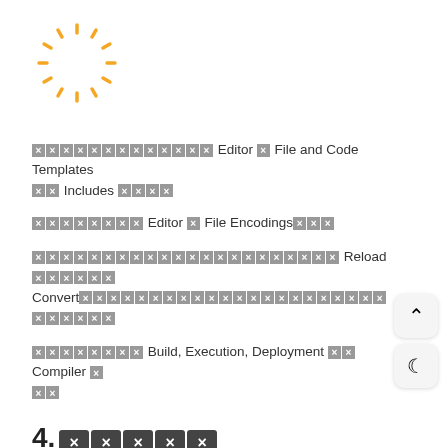[Figure (logo): Sun/loading spinner logo with golden rays on white background]
🔲🔲🔲🔲🔲🔲🔲🔲🔲🔲🔲🔲🔲 Editor 🔲 File and Code Templates 🔲🔲 Includes 🔲🔲🔲🔲
🔲🔲🔲🔲🔲🔲🔲🔲 Editor 🔲 File Encodings🔲🔲🔲
🔲🔲🔲🔲🔲🔲🔲🔲🔲🔲🔲🔲🔲🔲🔲🔲🔲🔲🔲🔲🔲🔲 Reload 🔲🔲🔲🔲🔲🔲 Convert🔲🔲🔲🔲🔲🔲🔲🔲🔲🔲🔲🔲🔲🔲🔲🔲🔲🔲🔲🔲🔲🔲🔲🔲🔲🔲🔲🔲
🔲🔲🔲🔲🔲🔲🔲🔲 Build, Execution, Deployment 🔲🔲 Compiler 🔲🔲🔲
4. 🔲🔲🔲🔲🔲